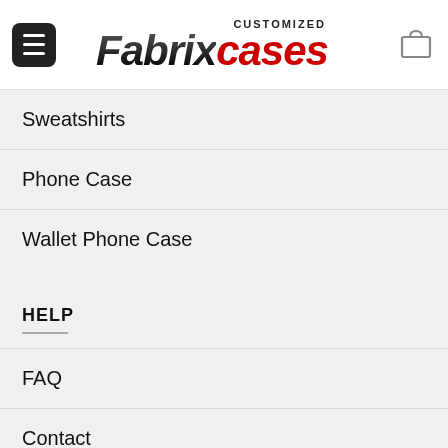[Figure (logo): Fabrixcases customized logo with hamburger menu button and shopping bag icon in header]
Sweatshirts
Phone Case
Wallet Phone Case
HELP
FAQ
Contact
About
My account